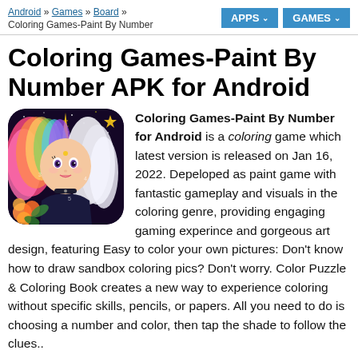Android » Games » Board » Coloring Games-Paint By Number | APPS ∨  GAMES ∨
Coloring Games-Paint By Number APK for Android
[Figure (illustration): App icon for Coloring Games-Paint By Number: a colorful anime-style girl with rainbow hair and a unicorn horn, flowers in the background, dark background, numbered coloring regions visible]
Coloring Games-Paint By Number for Android is a coloring game which latest version is released on Jan 16, 2022. Depeloped as paint game with fantastic gameplay and visuals in the coloring genre, providing engaging gaming experince and gorgeous art design, featuring Easy to color your own pictures: Don't know how to draw sandbox coloring pics? Don't worry. Color Puzzle & Coloring Book creates a new way to experience coloring without specific skills, pencils, or papers. All you need to do is choosing a number and color, then tap the shade to follow the clues..